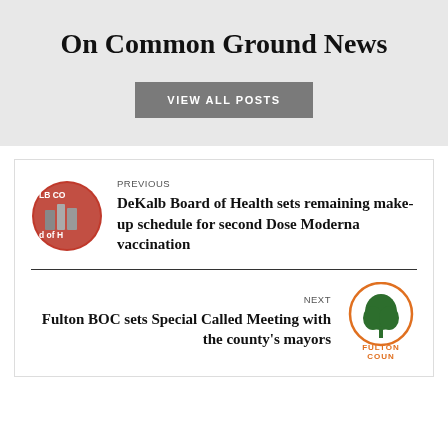On Common Ground News
VIEW ALL POSTS
PREVIOUS
DeKalb Board of Health sets remaining make-up schedule for second Dose Moderna vaccination
NEXT
Fulton BOC sets Special Called Meeting with the county's mayors